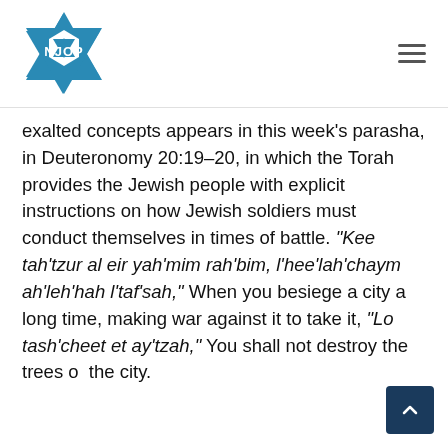NJOP
exalted concepts appears in this week's parasha, in Deuteronomy 20:19-20, in which the Torah provides the Jewish people with explicit instructions on how Jewish soldiers must conduct themselves in times of battle. “Kee tah’tzur al eir yah’mim rah’bim, l’hee’lah’chaym ah’leh’hah l’taf’sah,” When you besiege a city a long time, making war against it to take it, “Lo tash’cheet et ay’tzah,” You shall not destroy the trees of the city.